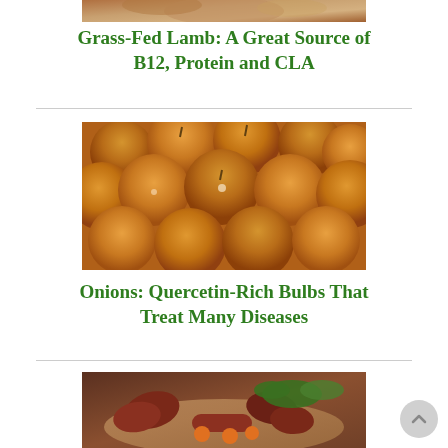[Figure (photo): Partial photo of grass-fed lamb at top of page (cropped, only bottom portion visible)]
Grass-Fed Lamb: A Great Source of B12, Protein and CLA
[Figure (photo): Photo of a large pile of golden-brown onion bulbs]
Onions: Quercetin-Rich Bulbs That Treat Many Diseases
[Figure (photo): Photo of raw organ meats (kidneys and sausages) on a wooden cutting board with vegetables]